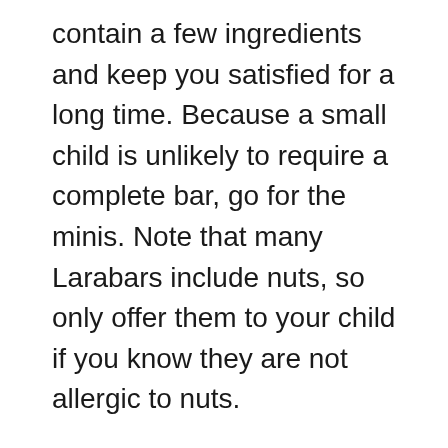contain a few ingredients and keep you satisfied for a long time. Because a small child is unlikely to require a complete bar, go for the minis. Note that many Larabars include nuts, so only offer them to your child if you know they are not allergic to nuts.
Plum Organic Mighty Snack Bars are another great option for infants. Every bar contains 4 food categories, 5 grams of whole grains, and 11 vitamins and minerals. Furthermore, they are certified